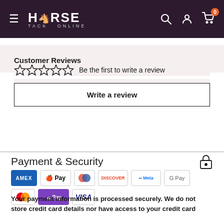HORSE TACK ONLINE
Customer Reviews
☆☆☆☆☆  Be the first to write a review
Write a review
Payment & Security
[Figure (other): Payment method logos: Amex, Apple Pay, Diners, Discover, Meta Pay, Google Pay, Mastercard, Shop Pay, Visa]
Your payment information is processed securely. We do not store credit card details nor have access to your credit card